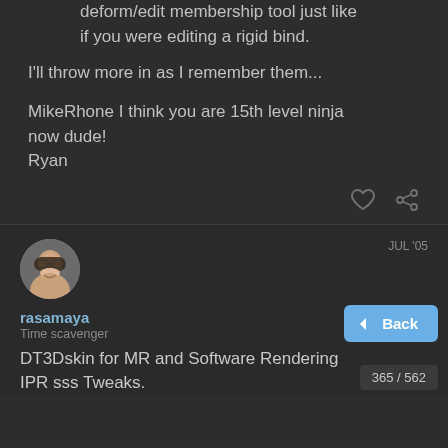deform/edit membership tool just like if you were editing a rigid bind.
I'll throw more in as I remember them...
MikeRhone I think you are 15th level ninja now dude!
Ryan
[Figure (illustration): Heart icon and link/share icon action buttons]
[Figure (photo): User avatar photo of rasamaya - person with glasses smiling]
rasamaya
Time scavenger
JUL '05
DT3Dskin for MR and Software Rendering IPR sss Tweaks.
Back
365 / 562